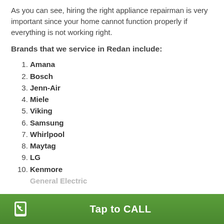As you can see, hiring the right appliance repairman is very important since your home cannot function properly if everything is not working right.
Brands that we service in Redan include:
Amana
Bosch
Jenn-Air
Miele
Viking
Samsung
Whirlpool
Maytag
LG
Kenmore
Tap to CALL